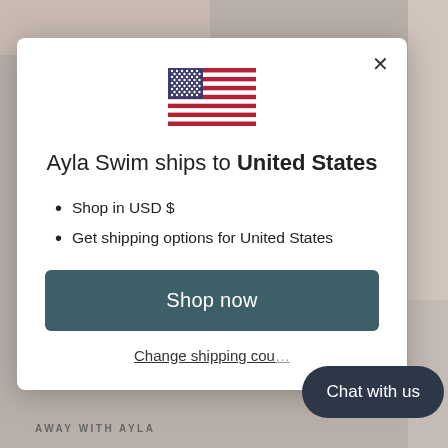[Figure (screenshot): Website modal dialog on Ayla Swim website showing shipping destination selector. Background shows partial product photos of children's swimwear. Modal contains US flag, shipping info text, bullet points, Shop now button, and Change shipping country link. A dark Chat with us button appears in the bottom right.]
Ayla Swim ships to United States
Shop in USD $
Get shipping options for United States
Shop now
Change shipping cou…
Chat with us
AWAY WITH AYLA